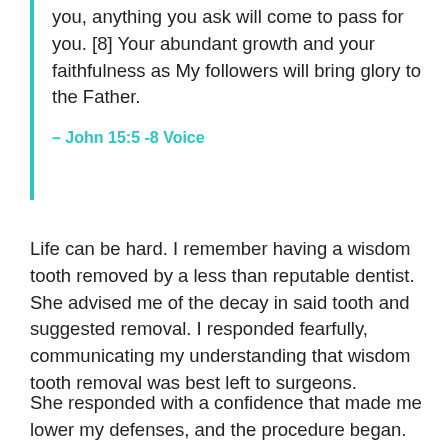you, anything you ask will come to pass for you. [8] Your abundant growth and your faithfulness as My followers will bring glory to the Father.
— John 15:5 -8 Voice
Life can be hard. I remember having a wisdom tooth removed by a less than reputable dentist. She advised me of the decay in said tooth and suggested removal. I responded fearfully, communicating my understanding that wisdom tooth removal was best left to surgeons.
She responded with a confidence that made me lower my defenses, and the procedure began. The...